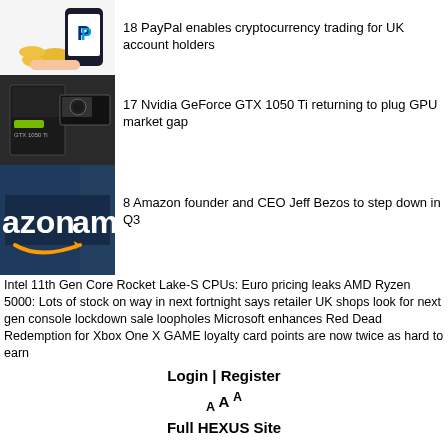[Figure (illustration): PayPal app icon on a phone with coins]
18 PayPal enables cryptocurrency trading for UK account holders
[Figure (photo): Nvidia GeForce GTX graphics card box]
17 Nvidia GeForce GTX 1050 Ti returning to plug GPU market gap
[Figure (photo): Amazon building sign with logo]
8 Amazon founder and CEO Jeff Bezos to step down in Q3
Intel 11th Gen Core Rocket Lake-S CPUs: Euro pricing leaks AMD Ryzen 5000: Lots of stock on way in next fortnight says retailer UK shops look for next gen console lockdown sale loopholes Microsoft enhances Red Dead Redemption for Xbox One X GAME loyalty card points are now twice as hard to earn
Login | Register
A A A
Full HEXUS Site
About Us - Contact Us - Advertise - T&Cs
Copyright © 1998 - 2022, HEXUS.net. All rights reserved. HEXUS® is a registered trademark of HEXUS.